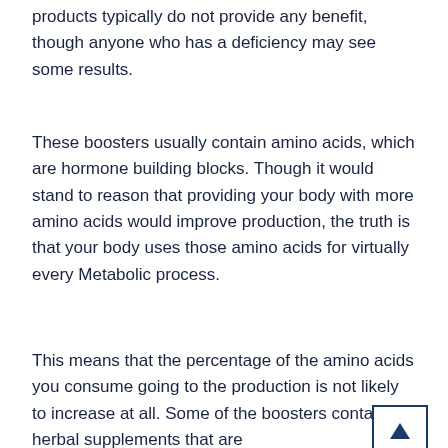products typically do not provide any benefit, though anyone who has a deficiency may see some results.
These boosters usually contain amino acids, which are hormone building blocks. Though it would stand to reason that providing your body with more amino acids would improve production, the truth is that your body uses those amino acids for virtually every Metabolic process.
This means that the percentage of the amino acids you consume going to the production is not likely to increase at all. Some of the boosters contain herbal supplements that are